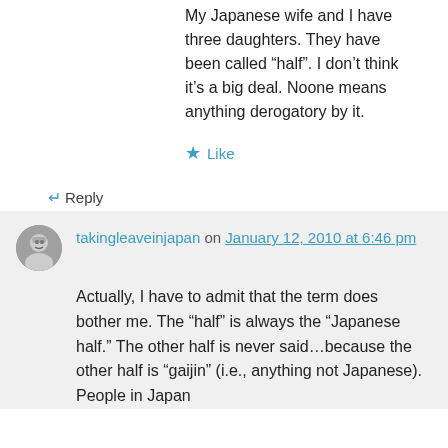My Japanese wife and I have three daughters. They have been called “half”. I don’t think it’s a big deal. Noone means anything derogatory by it.
Like
Reply
takingleaveinjapan on January 12, 2010 at 6:46 pm
Actually, I have to admit that the term does bother me. The “half” is always the “Japanese half.” The other half is never said…because the other half is “gaijin” (i.e., anything not Japanese). People in Japan